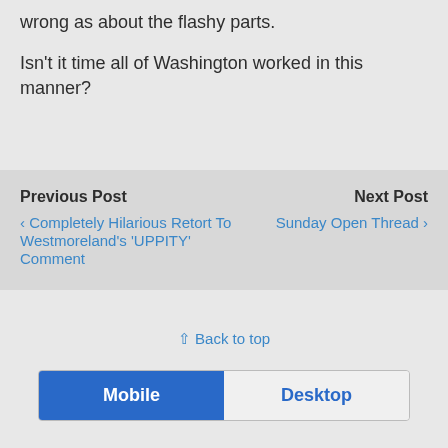wrong as about the flashy parts.
Isn't it time all of Washington worked in this manner?
Previous Post
‹ Completely Hilarious Retort To Westmoreland's 'UPPITY' Comment
Next Post
Sunday Open Thread ›
⇧ Back to top
Mobile | Desktop